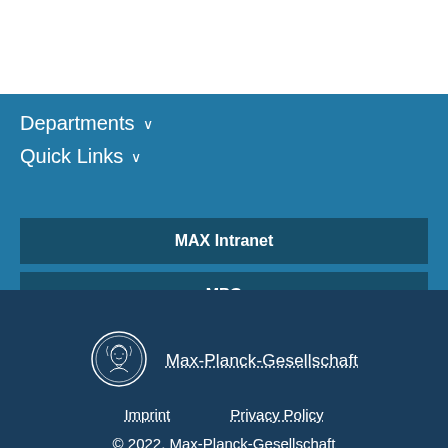Departments ∨
Quick Links ∨
MAX Intranet
MPG
[Figure (logo): Max-Planck-Gesellschaft circular medallion logo with Minerva head]
Max-Planck-Gesellschaft
Imprint    Privacy Policy
© 2022, Max-Planck-Gesellschaft